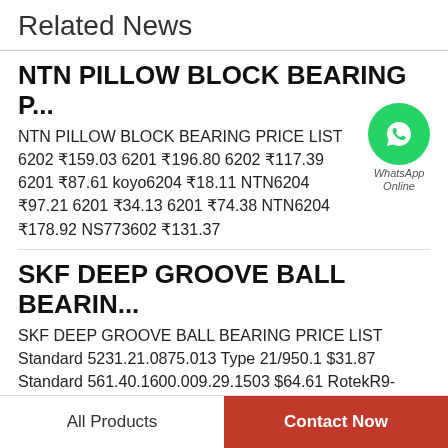Related News
NTN PILLOW BLOCK BEARING P...
NTN PILLOW BLOCK BEARING PRICE LIST 6202 ₹159.03 6201 ₹196.80 6202 ₹117.39 6201 ₹87.61 koyo6204 ₹18.11 NTN6204 ₹97.21 6201 ₹34.13 6201 ₹74.38 NTN6204 ₹178.92 NS773602 ₹131.37
[Figure (logo): WhatsApp Online badge - green circle with phone icon, labeled WhatsApp Online]
SKF DEEP GROOVE BALL BEARIN...
SKF DEEP GROOVE BALL BEARING PRICE LIST Standard 5231.21.0875.013 Type 21/950.1 $31.87 Standard 561.40.1600.009.29.1503 $64.61 RotekR9-55N3 $14.11 Standard 5232.21.0875.013 Type 21/950.2 $153.93 Standard...
All Products  |  Contact Now